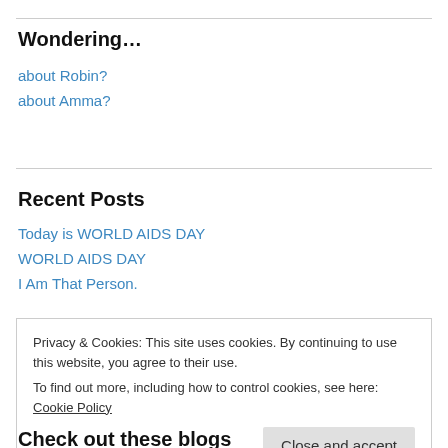Wondering…
about Robin?
about Amma?
Recent Posts
Today is WORLD AIDS DAY
WORLD AIDS DAY
I Am That Person.
Privacy & Cookies: This site uses cookies. By continuing to use this website, you agree to their use. To find out more, including how to control cookies, see here: Cookie Policy
Check out these blogs